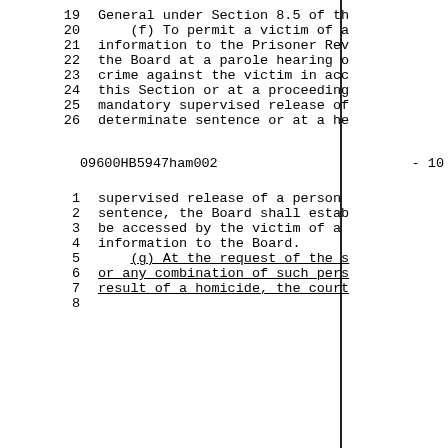19   General under Section 8.5 of th
20       (f) To permit a victim of a
21   information to the Prisoner Rev
22   the Board at a parole hearing o
23   crime against the victim in acc
24   this Section or at a proceeding
25   mandatory supervised release of
26   determinate sentence or at a he
09600HB5947ham002          - 10
1    supervised release of a person
2    sentence, the Board shall estab
3    be accessed by the victim of a
4    information to the Board.
5        (g) At the request of the s
6    or any combination of such pers
7    result of a homicide, the court
8